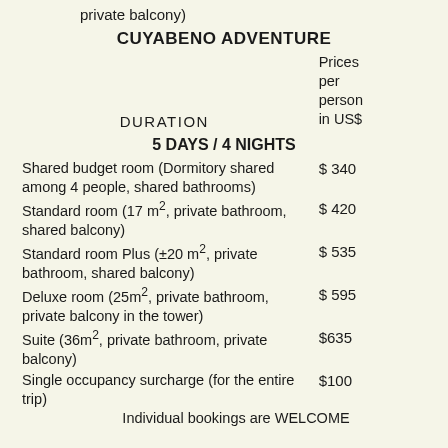private balcony)
CUYABENO ADVENTURE
| DURATION | Prices per person in US$ |
| --- | --- |
| 5 DAYS / 4 NIGHTS |  |
| Shared budget room (Dormitory shared among 4 people, shared bathrooms) | $ 340 |
| Standard room (17 m², private bathroom, shared balcony) | $ 420 |
| Standard room Plus (±20 m², private bathroom, shared balcony) | $ 535 |
| Deluxe room (25m², private bathroom, private balcony in the tower) | $ 595 |
| Suite (36m², private bathroom, private balcony) | $635 |
| Single occupancy surcharge (for the entire trip) | $100 |
| Individual bookings are WELCOME |  |